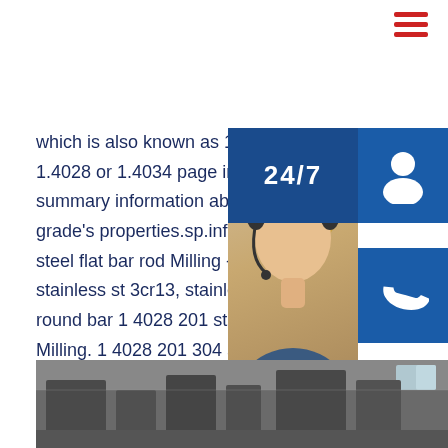[Figure (other): Hamburger menu icon with three red horizontal bars, top right corner]
which is also known as 1.4021 or 1.4028 or 1.4034 page includes summary information about steel grade's properties.sp.info 1 4028 201 steel flat bar rod Milling - amss stainless st 3cr13, stainless steel round bar 1 4028 201 steel flat bar rod Milling. 1 4028 201 304 s bar rod Milling offers 1,648 stainless steel r products. A wide variety of stainless steel m options are available to you, such as standard, processing service, and grade.
[Figure (infographic): Customer service widget with 24/7 label, headset icon, phone icon, Skype icon, woman with headset photo, PROVIDE Empowering Customers text, and orange online live button]
[Figure (photo): Factory floor interior showing industrial equipment and machinery]